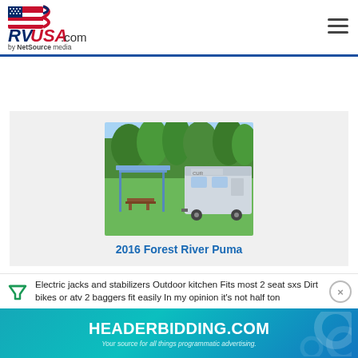RVUSA.com by NetSource media
[Figure (photo): RV campsite photo showing a metal canopy shelter with picnic table on green grass, and a silver fifth-wheel RV trailer parked beside trees]
2016 Forest River Puma
Electric jacks and stabilizers Outdoor kitchen Fits most 2 seat sxs Dirt bikes or atv 2 baggers fit easily In my opinion it's not half ton
[Figure (screenshot): HEADERBIDDING.COM advertisement banner — Your source for all things programmatic advertising.]